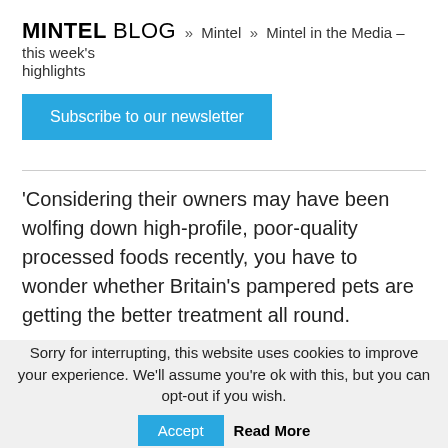MINTEL BLOG » Mintel » Mintel in the Media – this week's highlights
[Figure (other): Subscribe to our newsletter button (cyan/blue background, white text)]
'Considering their owners may have been wolfing down high-profile, poor-quality processed foods recently, you have to wonder whether Britain's pampered pets are getting the better treatment all round.
China Daily Europe: Domestic milk market faces gap in supply. China's milk market volume will grow at an 8.2 percent compound annual growth rate, or CAGR, between
Sorry for interrupting, this website uses cookies to improve your experience. We'll assume you're ok with this, but you can opt-out if you wish. Accept Read More